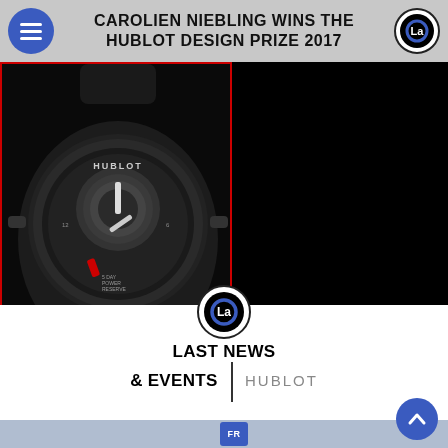CAROLIEN NIEBLING WINS THE HUBLOT DESIGN PRIZE 2017
[Figure (photo): Black Hublot MP luxury watch with tourbillon, displayed against dark background, with red border frame and HUBLOT MP label in white]
[Figure (logo): Circular logo with stylized 'La' lettering in blue and black]
LAST NEWS & EVENTS | HUBLOT
[Figure (photo): Bottom strip showing partial preview of news images with FR badge]